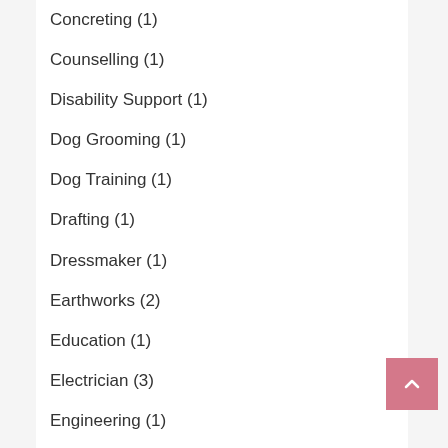Concreting (1)
Counselling (1)
Disability Support (1)
Dog Grooming (1)
Dog Training (1)
Drafting (1)
Dressmaker (1)
Earthworks (2)
Education (1)
Electrician (3)
Engineering (1)
Fabrication (1)
Financial Services (2)
Firewood (2)
Floor Sanding (2)